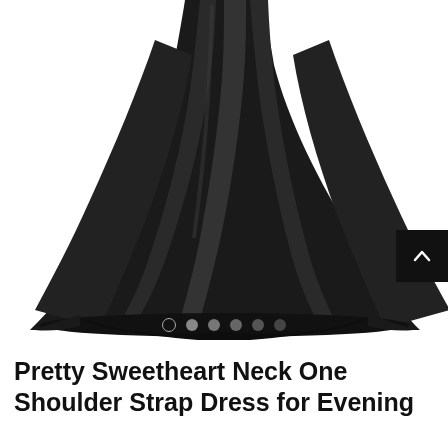[Figure (photo): A black long flowing evening gown with sweetheart neckline and one shoulder strap, shown from the lower half, displaying a full skirt with draped fabric and a train, photographed against a white background.]
Pretty Sweetheart Neck One Shoulder Strap Dress for Evening